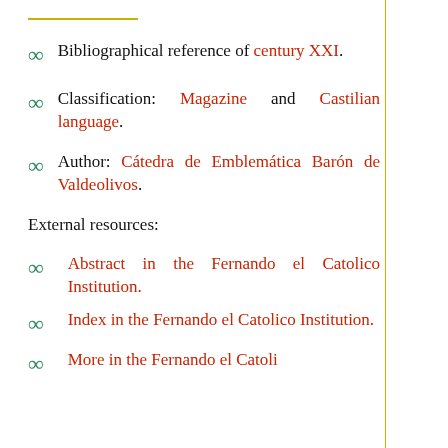Bibliographical reference of century XXI.
Classification: Magazine and Castilian language.
Author: Cátedra de Emblemática Barón de Valdeolivos.
External resources:
Abstract in the Fernando el Catolico Institution.
Index in the Fernando el Catolico Institution.
More in the Fernando el Catolico...